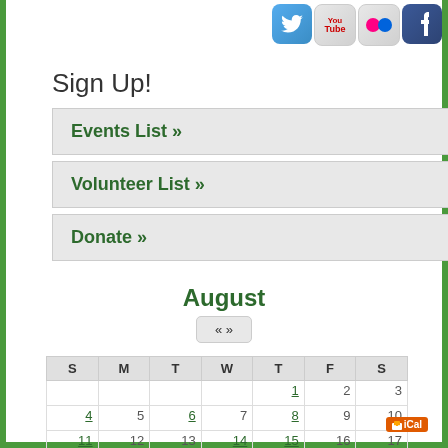[Figure (other): Social media icons for Twitter, YouTube, Flickr, and Facebook in top right corner]
Sign Up!
Events List »
Volunteer List »
Donate »
August
| S | M | T | W | T | F | S |
| --- | --- | --- | --- | --- | --- | --- |
|  |  |  |  | 1 | 2 | 3 | 4 | 5 | 6 | 7 |
| 8 | 9 | 10 | 11 | 12 | 13 | 14 |
| 15 | 16 | 17 | 18 | 19 | 20 | 21 |
| 22 | 23 | 24 | 25 | 26 | 27 | 28 |
| 29 | 30 | 31 |  |  |  |  |